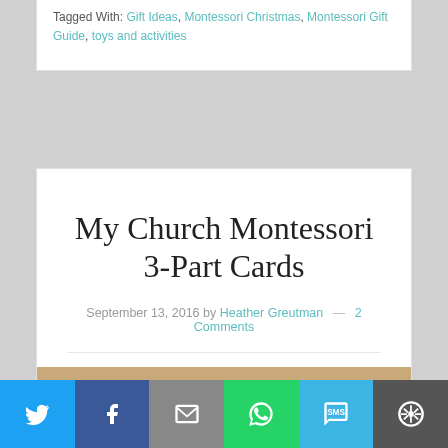Tagged With: Gift Ideas, Montessori Christmas, Montessori Gift Guide, toys and activities
My Church Montessori 3-Part Cards
September 13, 2016 by Heather Greutman — 2 Comments
[Figure (photo): Tan/kraft background with white cards fanned out, title text 'My Church Montessori 3-Part Cards' in white bold text overlay]